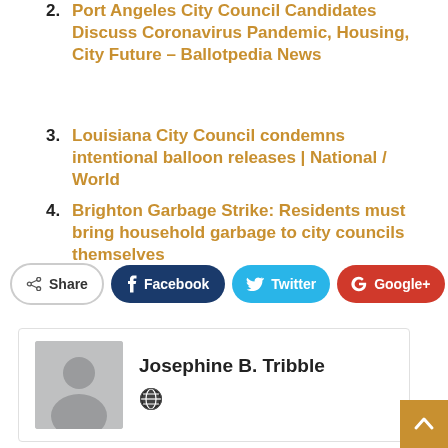2. Port Angeles City Council Candidates Discuss Coronavirus Pandemic, Housing, City Future – Ballotpedia News
3. Louisiana City Council condemns intentional balloon releases | National / World
4. Brighton Garbage Strike: Residents must bring household garbage to city councils themselves
[Figure (infographic): Share bar with Share, Facebook, Twitter, Google+, and + buttons]
[Figure (infographic): Author card showing avatar placeholder and name Josephine B. Tribble with a world/globe icon]
[Figure (infographic): Orange scroll-to-top button in bottom right corner with upward arrow]